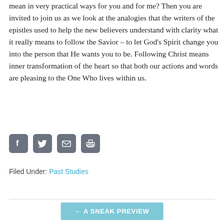mean in very practical ways for you and for me? Then you are invited to join us as we look at the analogies that the writers of the epistles used to help the new believers understand with clarity what it really means to follow the Savior – to let God's Spirit change you into the person that He wants you to be. Following Christ means inner transformation of the heart so that both our actions and words are pleasing to the One Who lives within us.
[Figure (infographic): Four social sharing icon buttons: Facebook (f), Twitter (bird), Email (envelope), Print (printer) — all with dark gray rounded square backgrounds]
Filed Under: Past Studies
← A SNEAK PREVIEW